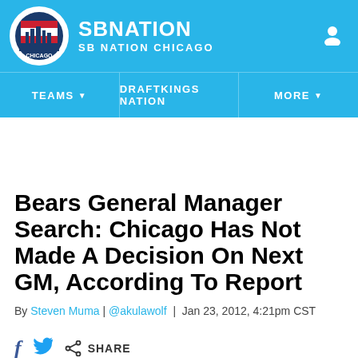[Figure (logo): SB Nation Chicago logo with circular emblem and site name]
TEAMS   DRAFTKINGS NATION   MORE
Bears General Manager Search: Chicago Has Not Made A Decision On Next GM, According To Report
By Steven Muma | @akulawolf | Jan 23, 2012, 4:21pm CST
SHARE